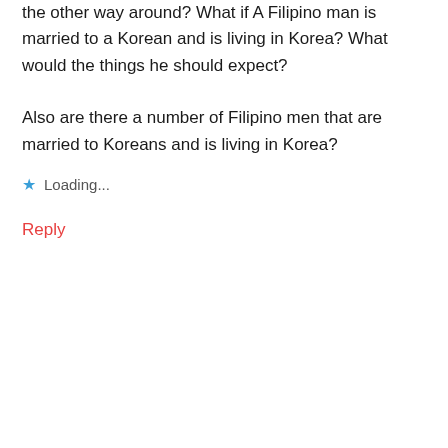the other way around? What if A Filipino man is married to a Korean and is living in Korea? What would the things he should expect?
Also are there a number of Filipino men that are married to Koreans and is living in Korea?
Loading...
Reply